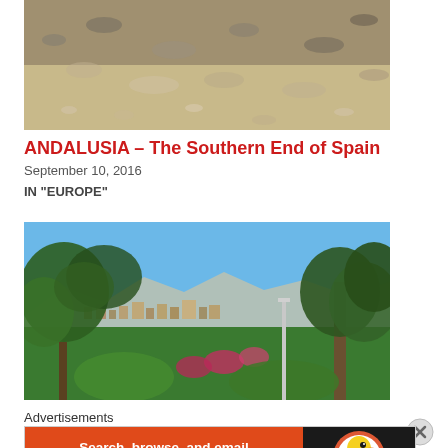[Figure (photo): Top partial photo showing rocky/gravelly ground texture, cut off at top]
ANDALUSIA – The Southern End of Spain
September 10, 2016
IN "EUROPE"
[Figure (photo): Landscape photo of a city (likely Granada) viewed from a garden, with trees framing the view, mountains in background, blue sky]
Advertisements
[Figure (screenshot): DuckDuckGo advertisement banner: orange left panel with white text 'Search, browse, and email with more privacy.' and white pill button 'All in One Free App'; dark right panel with DuckDuckGo duck logo]